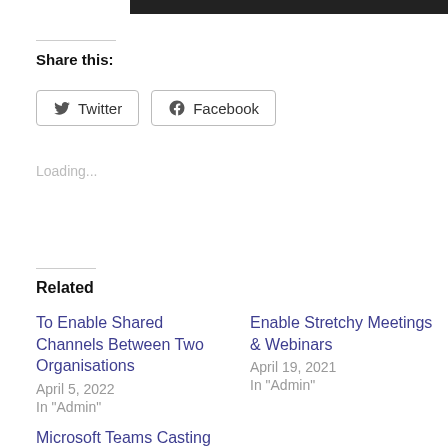[Figure (other): Black bar at top of page (partial image/banner)]
Share this:
Twitter  Facebook
Loading...
Related
To Enable Shared Channels Between Two Organisations
April 5, 2022
In "Admin"
Enable Stretchy Meetings & Webinars
April 19, 2021
In "Admin"
Microsoft Teams Casting and Companion Mode
June 5, 2022
In "End User"